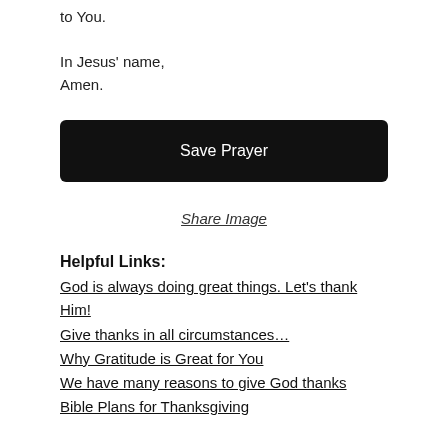to You.

In Jesus' name,
Amen.
Save Prayer
Share Image
Helpful Links:
God is always doing great things. Let's thank Him!
Give thanks in all circumstances…
Why Gratitude is Great for You
We have many reasons to give God thanks
Bible Plans for Thanksgiving